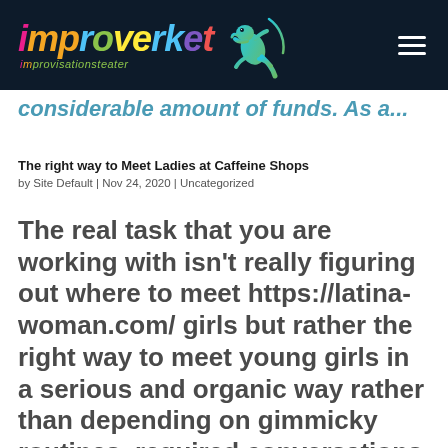improverket improvisationsteater [logo with gecko]
considerable amount of funds. As a...
The right way to Meet Ladies at Caffeine Shops
by Site Default | Nov 24, 2020 | Uncategorized
The real task that you are working with isn't really figuring out where to meet https://latina-woman.com/ girls but rather the right way to meet young girls in a serious and organic way rather than depending on gimmicky routines, required conversations and...